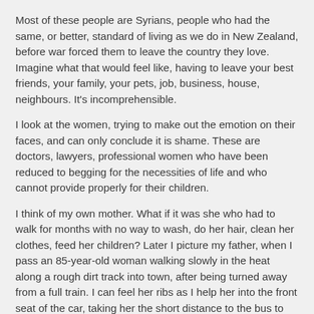Most of these people are Syrians, people who had the same, or better, standard of living as we do in New Zealand, before war forced them to leave the country they love. Imagine what that would feel like, having to leave your best friends, your family, your pets, job, business, house, neighbours. It's incomprehensible.
I look at the women, trying to make out the emotion on their faces, and can only conclude it is shame. These are doctors, lawyers, professional women who have been reduced to begging for the necessities of life and who cannot provide properly for their children.
I think of my own mother. What if it was she who had to walk for months with no way to wash, do her hair, clean her clothes, feed her children? Later I picture my father, when I pass an 85-year-old woman walking slowly in the heat along a rough dirt track into town, after being turned away from a full train. I can feel her ribs as I help her into the front seat of the car, taking her the short distance to the bus to wait for her family. She is the same age as my dad.